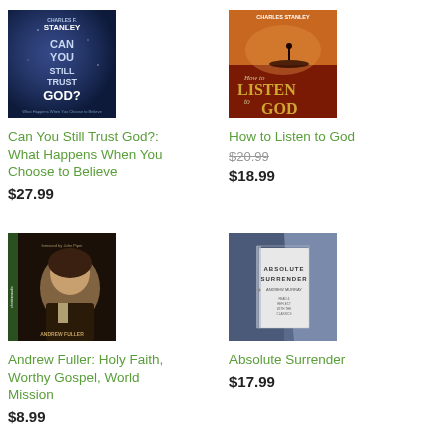[Figure (illustration): Book cover: Can You Still Trust God? by Charles F. Stanley, blue background with white text]
Can You Still Trust God?: What Happens When You Choose to Believe
$27.99
[Figure (illustration): Book cover: How to Listen to God by Charles Stanley, dramatic sunset/red background with large title text]
How to Listen to God
$20.99 (strikethrough) $18.99
[Figure (illustration): Book cover: Andrew Fuller: Holy Faith, Worthy Gospel, World Mission by John Piper, ChristianAudio, portrait of Andrew Fuller]
Andrew Fuller: Holy Faith, Worthy Gospel, World Mission
$8.99
[Figure (illustration): Book cover: Absolute Surrender by Andrew Murray, blue/grey cover with white text]
Absolute Surrender
$17.99